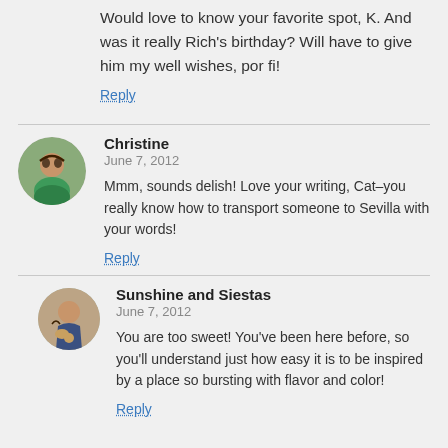Would love to know your favorite spot, K. And was it really Rich's birthday? Will have to give him my well wishes, por fi!
Reply
Christine
June 7, 2012
Mmm, sounds delish! Love your writing, Cat–you really know how to transport someone to Sevilla with your words!
Reply
Sunshine and Siestas
June 7, 2012
You are too sweet! You've been here before, so you'll understand just how easy it is to be inspired by a place so bursting with flavor and color!
Reply